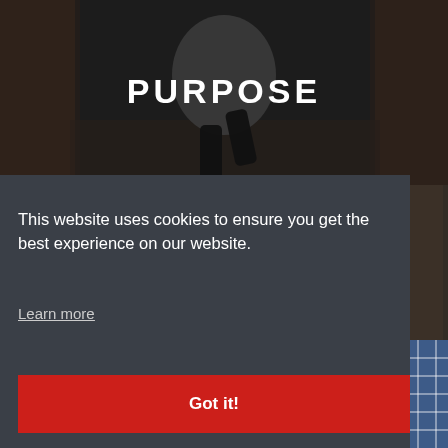[Figure (photo): Background photo of a person running in an alley between brick buildings, darkened/dimmed overlay.]
PURPOSE
[Figure (photo): Partial photo visible on the right side — dark textured urban background.]
[Figure (photo): Partial photo visible at bottom right — blue and white checked fabric/clothing.]
This website uses cookies to ensure you get the best experience on our website.
Learn more
Got it!